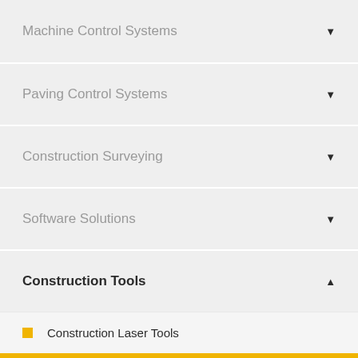Machine Control Systems
Paving Control Systems
Construction Surveying
Software Solutions
Construction Tools
Construction Laser Tools
Optical Surveying Instruments
Laser Distance Meters